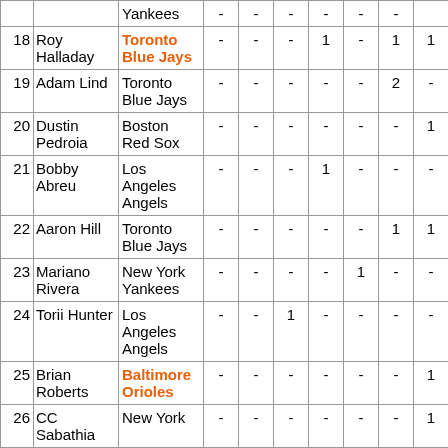| # | Name | Team | Col1 | Col2 | Col3 | Col4 | Col5 | Col6 | Col7 |
| --- | --- | --- | --- | --- | --- | --- | --- | --- | --- |
|  |  | Yankees | - | - | - | - | - | - | - |
| 18 | Roy Halladay | Toronto Blue Jays | - | - | - | 1 | - | 1 | 1 |
| 19 | Adam Lind | Toronto Blue Jays | - | - | - | - | - | 2 | - |
| 20 | Dustin Pedroia | Boston Red Sox | - | - | - | - | - | - | 1 |
| 21 | Bobby Abreu | Los Angeles Angels | - | - | - | 1 | - | - | - |
| 22 | Aaron Hill | Toronto Blue Jays | - | - | - | - | - | 1 | 1 |
| 23 | Mariano Rivera | New York Yankees | - | - | - | - | 1 | - | - |
| 24 | Torii Hunter | Los Angeles Angels | - | - | 1 | - | - | - | - |
| 25 | Brian Roberts | Baltimore Orioles | - | - | - | - | - | - | 1 |
| 26 | CC Sabathia | New York | - | - | - | - | - | - | 1 |